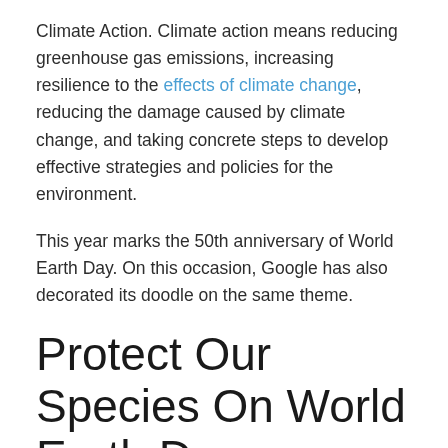Climate Action. Climate action means reducing greenhouse gas emissions, increasing resilience to the effects of climate change, reducing the damage caused by climate change, and taking concrete steps to develop effective strategies and policies for the environment.
This year marks the 50th anniversary of World Earth Day. On this occasion, Google has also decorated its doodle on the same theme.
Protect Our Species On World Earth Day